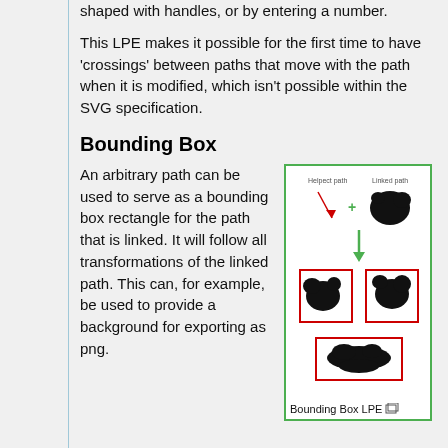shaped with handles, or by entering a number.
This LPE makes it possible for the first time to have 'crossings' between paths that move with the path when it is modified, which isn't possible within the SVG specification.
Bounding Box
An arbitrary path can be used to serve as a bounding box rectangle for the path that is linked. It will follow all transformations of the linked path. This can, for example, be used to provide a background for exporting as png.
[Figure (illustration): Bounding Box LPE illustration showing linked paths and bounding boxes with red rectangles and a green arrow]
Bounding Box LPE